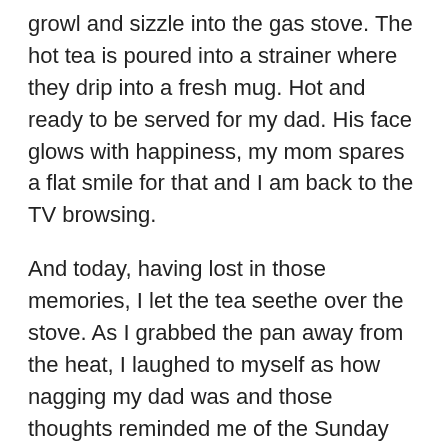growl and sizzle into the gas stove. The hot tea is poured into a strainer where they drip into a fresh mug. Hot and ready to be served for my dad. His face glows with happiness, my mom spares a flat smile for that and I am back to the TV browsing.
And today, having lost in those memories, I let the tea seethe over the stove. As I grabbed the pan away from the heat, I laughed to myself as how nagging my dad was and those thoughts reminded me of the Sunday moments with my parents. I hugged the mug and closed my eyes to inhale a lungful of its aroma – it smelled of homemade bliss. At the thought of my home, I grew quiet and continued to glance at the empty sky from my kitchen window.